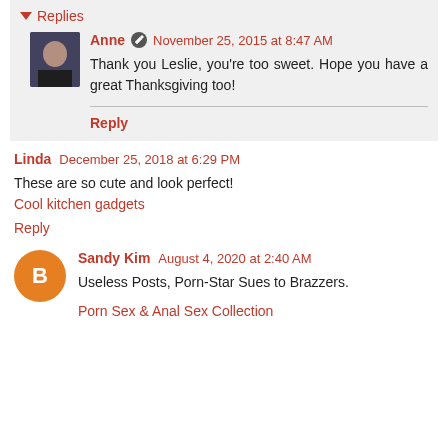Replies
Anne  November 25, 2015 at 8:47 AM
Thank you Leslie, you're too sweet. Hope you have a great Thanksgiving too!
Reply
Linda  December 25, 2018 at 6:29 PM
These are so cute and look perfect!
Cool kitchen gadgets
Reply
Sandy Kim  August 4, 2020 at 2:40 AM
Useless Posts, Porn-Star Sues to Brazzers.
Porn Sex & Anal Sex Collection